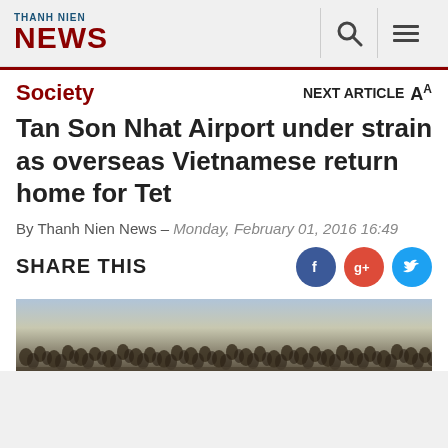THANH NIEN NEWS
Society
Tan Son Nhat Airport under strain as overseas Vietnamese return home for Tet
By Thanh Nien News – Monday, February 01, 2016 16:49
SHARE THIS
[Figure (photo): Wide crowd photo showing large group of people at Tan Son Nhat airport]